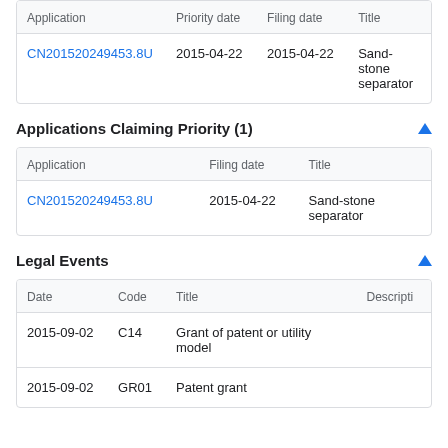| Application | Priority date | Filing date | Title |
| --- | --- | --- | --- |
| CN201520249453.8U | 2015-04-22 | 2015-04-22 | Sand-stone separator |
Applications Claiming Priority (1)
| Application | Filing date | Title |
| --- | --- | --- |
| CN201520249453.8U | 2015-04-22 | Sand-stone separator |
Legal Events
| Date | Code | Title | Descripti |
| --- | --- | --- | --- |
| 2015-09-02 | C14 | Grant of patent or utility model |  |
| 2015-09-02 | GR01 | Patent grant |  |